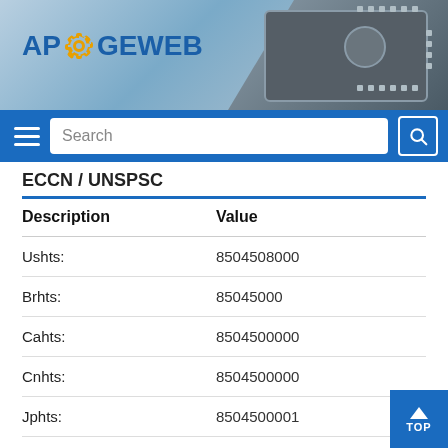[Figure (logo): ApogeWeb logo with gear icon on a blue/gray chip background header banner]
ECCN / UNSPSC
| Description | Value |
| --- | --- |
| Ushts: | 8504508000 |
| Brhts: | 85045000 |
| Cahts: | 8504500000 |
| Cnhts: | 8504500000 |
| Jphts: | 8504500001 |
| Krhts: | 8504509090 |
| Mxhts: | 85045002 |